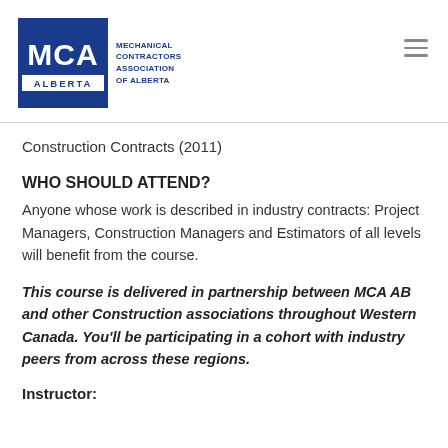[Figure (logo): MCA Alberta logo — blue square with white MCA letters and white ALBERTA bar, beside text reading MECHANICAL CONTRACTORS ASSOCIATION OF ALBERTA]
Construction Contracts (2011)
WHO SHOULD ATTEND?
Anyone whose work is described in industry contracts: Project Managers, Construction Managers and Estimators of all levels will benefit from the course.
This course is delivered in partnership between MCA AB and other Construction associations throughout Western Canada. You'll be participating in a cohort with industry peers from across these regions.
Instructor: